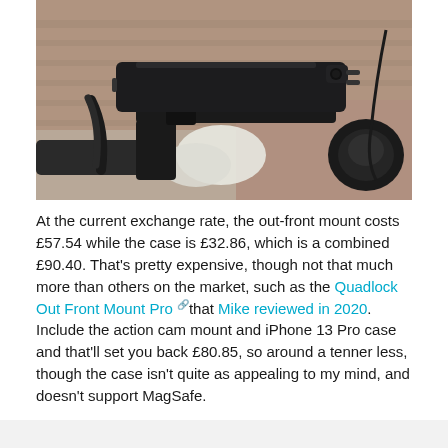[Figure (photo): Close-up photo of a smartphone mounted on bicycle handlebars using an out-front mount. The phone is in a dark case attached to an aerodynamic mount on drop handlebars with white tape. A brick wall is visible in the background.]
At the current exchange rate, the out-front mount costs £57.54 while the case is £32.86, which is a combined £90.40. That's pretty expensive, though not that much more than others on the market, such as the Quadlock Out Front Mount Pro that Mike reviewed in 2020. Include the action cam mount and iPhone 13 Pro case and that'll set you back £80.85, so around a tenner less, though the case isn't quite as appealing to my mind, and doesn't support MagSafe.